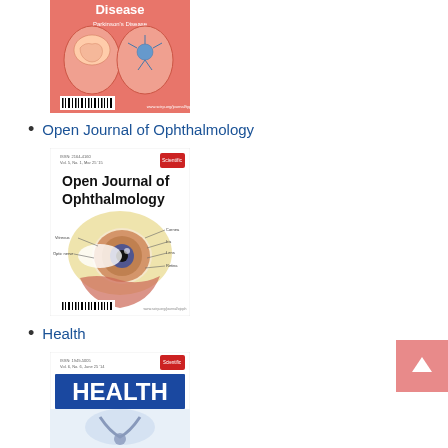[Figure (illustration): Journal cover for a Parkinson's Disease publication showing brain illustrations on a red/pink background with barcode]
Open Journal of Ophthalmology
[Figure (illustration): Journal cover for Open Journal of Ophthalmology showing detailed anatomical illustration of a human eye with labeled parts, white background, black bold title text]
Health
[Figure (illustration): Journal cover for Health showing HEALTH text on blue banner with medical imagery below, white background]